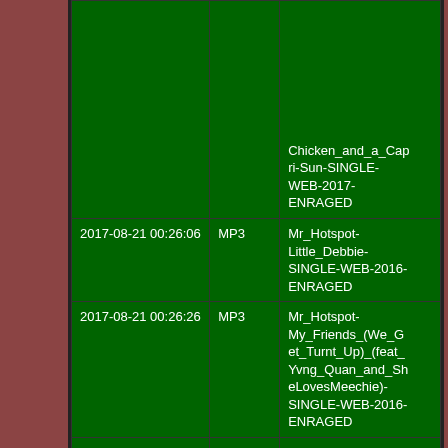| Date/Time | Type | Filename |
| --- | --- | --- |
|  |  | Chicken_and_a_Capri-Sun-SINGLE-WEB-2017-ENRAGED |
| 2017-08-21 00:26:06 | MP3 | Mr_Hotspot-Little_Debbie-SINGLE-WEB-2016-ENRAGED |
| 2017-08-21 00:26:26 | MP3 | Mr_Hotspot-My_Friends_(We_Get_Turnt_Up)_(feat_Yvng_Quan_and_SheLovesMeechie)-SINGLE-WEB-2016-ENRAGED |
| 2017-08-21 00:26:38 | MP3 | Mr_Hotspot-My_Friends_(feat_TeamTwin)-SINGLE-WEB-2016-ENRAGED |
| 2017-08-21 00:26:48 | MP3 | ... |